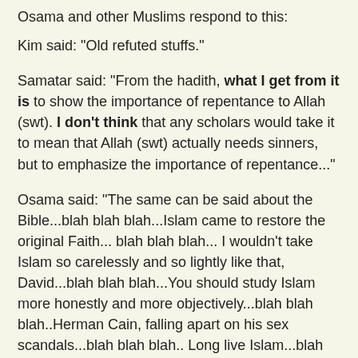Osama and other Muslims respond to this:
Kim said: "Old refuted stuffs."
Samatar said: "From the hadith, what I get from it is to show the importance of repentance to Allah (swt). I don't think that any scholars would take it to mean that Allah (swt) actually needs sinners, but to emphasize the importance of repentance..."
Osama said: "The same can be said about the Bible...blah blah blah...Islam came to restore the original Faith... blah blah blah... I wouldn't take Islam so carelessly and so lightly like that, David...blah blah blah...You should study Islam more honestly and more objectively...blah blah blah..Herman Cain, falling apart on his sex scandals...blah blah blah.. Long live Islam...blah blah blah..Islam is indeed the ONE AND ONLY Solution...blah blah blah..The Islamophobe disbelievers have nothing but crookedness..blah blah blah"
Ha ha ha...Are these the best arguments you Muslims